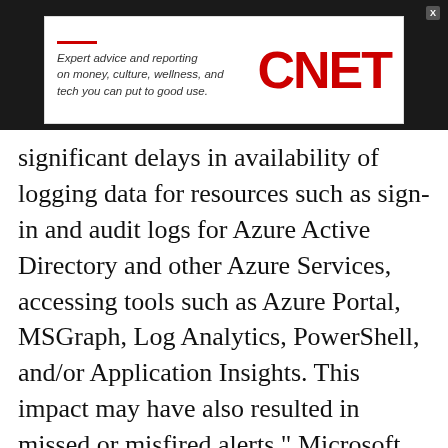[Figure (logo): CNET advertisement banner on dark background. Logo reads 'CNET' in bold red letters with tagline 'Expert advice and reporting on money, culture, wellness, and tech you can put to good use.' in italic text.]
significant delays in availability of logging data for resources such as sign-in and audit logs for Azure Active Directory and other Azure Services, accessing tools such as Azure Portal, MSGraph, Log Analytics, PowerShell, and/or Application Insights. This impact may have also resulted in missed or misfired alerts," Microsoft said.
After rolling out the fix, Microsoft removed the issue from the live Azure status page, which previously indicated the logging issue was affecting Azure AD globally.
While attempting to resolve the issue, Microsoft